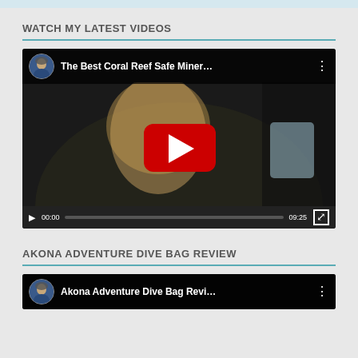WATCH MY LATEST VIDEOS
[Figure (screenshot): YouTube video player showing 'The Best Coral Reef Safe Miner...' with a woman holding a product, play button visible, duration 09:25, at 00:00]
AKONA ADVENTURE DIVE BAG REVIEW
[Figure (screenshot): YouTube video player showing 'Akona Adventure Dive Bag Revi...' with a woman's avatar, partially visible at bottom of page]